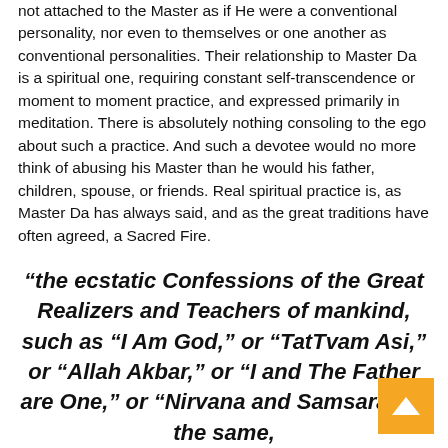not attached to the Master as if He were a conventional personality, nor even to themselves or one another as conventional personalities. Their relationship to Master Da is a spiritual one, requiring constant self-transcendence or moment to moment practice, and expressed primarily in meditation. There is absolutely nothing consoling to the ego about such a practice. And such a devotee would no more think of abusing his Master than he would his father, children, spouse, or friends. Real spiritual practice is, as Master Da has always said, and as the great traditions have often agreed, a Sacred Fire.
“the ecstatic Confessions of the Great Realizers and Teachers of mankind, such as “I Am God,” or “TatTvam Asi,” or “Allah Akbar,” or “I and The Father are One,” or “Nirvana and Samsara are the same,”